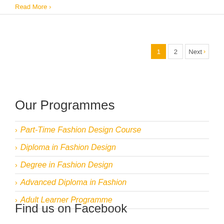Read More ›
1  2  Next ›
Our Programmes
Part-Time Fashion Design Course
Diploma in Fashion Design
Degree in Fashion Design
Advanced Diploma in Fashion
Adult Learner Programme
Find us on Facebook